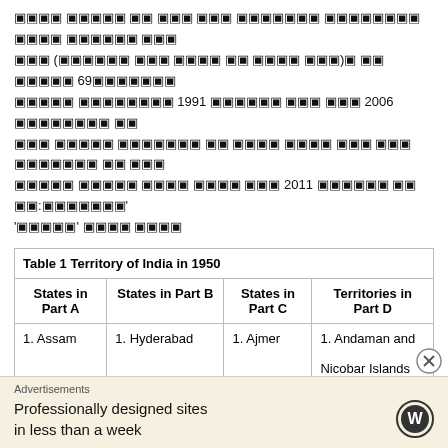[garbled text in non-Latin script containing references to years 69, 1991, 2006, 2011 and terms 'garbled' text blocks]
| States in Part A | States in Part B | States in Part C | Territories in Part D |
| --- | --- | --- | --- |
| 1. Assam | 1. Hyderabad | 1. Ajmer | 1. Andaman and

Nicobar Islands |
Advertisements
Professionally designed sites in less than a week